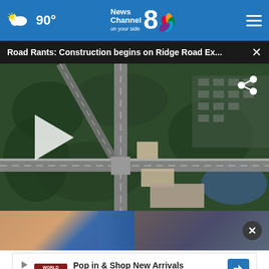90° News Channel 8 on your side
Road Rants: Construction begins on Ridge Road Ex...
[Figure (screenshot): Aerial view of a road intersection surrounded by trees and a suburban neighborhood, with a play button overlay and share icon]
[Figure (photo): Two blurred thumbnail images side by side with a close (X) button on the right thumbnail]
Pop in & Shop New Arrivals
World Market